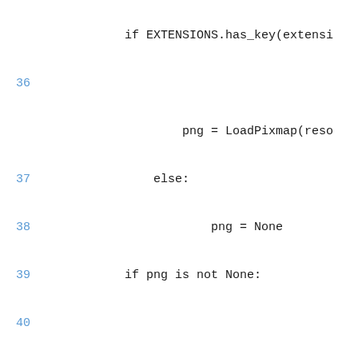[Figure (screenshot): Source code listing showing Python code lines 35-49, with line numbers in blue and code in monospace font on white background.]